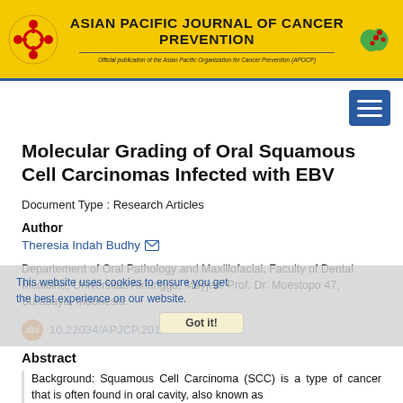ASIAN PACIFIC JOURNAL OF CANCER PREVENTION — Official publication of the Asian Pacific Organization for Cancer Prevention (APOCP)
Molecular Grading of Oral Squamous Cell Carcinomas Infected with EBV
Document Type : Research Articles
Author
Theresia Indah Budhy
Departement of Oral Pathology and Maxillofacial, Faculty of Dental Medicine, Universitas Airlangga, Mayjen. Prof. Dr. Moestopo 47, Surabaya, Indonesia.
10.22034/APJCP.2018.19.7.1793
Abstract
Background: Squamous Cell Carcinoma (SCC) is a type of cancer that is often found in oral cavity, also known as oral squamous cell carcinoma (OSCC).